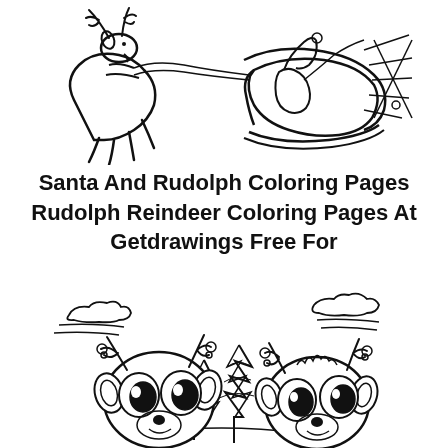[Figure (illustration): Black and white line drawing coloring page of Santa Claus flying through the air with reindeer, top portion of image]
Santa And Rudolph Coloring Pages Rudolph Reindeer Coloring Pages At Getdrawings Free For
[Figure (illustration): Black and white line drawing coloring page of two cute cartoon reindeer faces with big eyes, antlers adorned with ornaments, set against a winter scene with snow-covered pine trees and clouds]